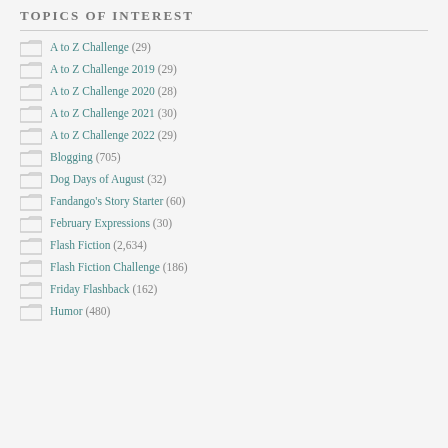TOPICS OF INTEREST
A to Z Challenge (29)
A to Z Challenge 2019 (29)
A to Z Challenge 2020 (28)
A to Z Challenge 2021 (30)
A to Z Challenge 2022 (29)
Blogging (705)
Dog Days of August (32)
Fandango's Story Starter (60)
February Expressions (30)
Flash Fiction (2,634)
Flash Fiction Challenge (186)
Friday Flashback (162)
Humor (480)